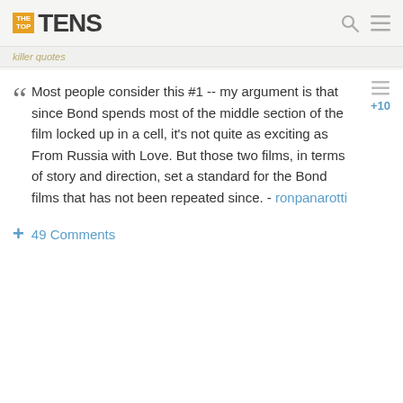THE TOP TENS
killer quotes
Most people consider this #1 -- my argument is that since Bond spends most of the middle section of the film locked up in a cell, it's not quite as exciting as From Russia with Love. But those two films, in terms of story and direction, set a standard for the Bond films that has not been repeated since. - ronpanarotti
+ 49 Comments